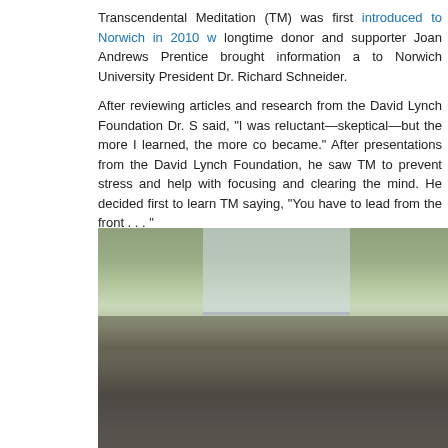Transcendental Meditation (TM) was first introduced to Norwich in 2010 w... longtime donor and supporter Joan Andrews Prentice brought information a... to Norwich University President Dr. Richard Schneider.
After reviewing articles and research from the David Lynch Foundation Dr. S... said, "I was reluctant—skeptical—but the more I learned, the more co... became." After presentations from the David Lynch Foundation, he saw TM ... to prevent stress and help with focusing and clearing the mind. He decided ... first to learn TM saying, "You have to lead from the front . . . "
In collaboration with Norwich's board of trustees, the university directors de... a trial research project for TM. The idea of participating in the trial was pres... all incoming students and their parents in 2010. Thirty new students learned... thirty were in a non-meditating control group.
[Figure (photo): A group of students and military cadets in a room practicing Transcendental Meditation, seated with eyes closed. Some wear military camouflage uniforms, others wear civilian clothes. The room has green walls and large windows.]